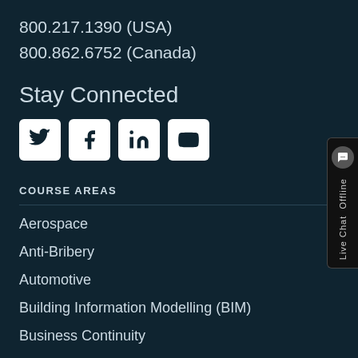800.217.1390 (USA)
800.862.6752 (Canada)
Stay Connected
[Figure (other): Social media icons: Twitter, Facebook, LinkedIn, YouTube]
COURSE AREAS
Aerospace
Anti-Bribery
Automotive
Building Information Modelling (BIM)
Business Continuity
Cannabis
Cloud Security
Energy Management
Environment